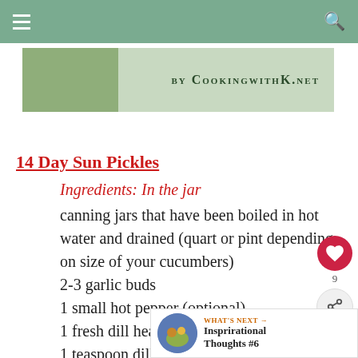Navigation bar with hamburger menu and search icon
[Figure (photo): Banner image showing food in a bowl with text 'by CookingwithK.net']
14 Day Sun Pickles
Ingredients: In the jar
canning jars that have been boiled in hot water and drained (quart or pint depending on size of your cucumbers)
2-3 garlic buds
1 small hot pepper (optional)
1 fresh dill head with stem
1 teaspoon dill seed